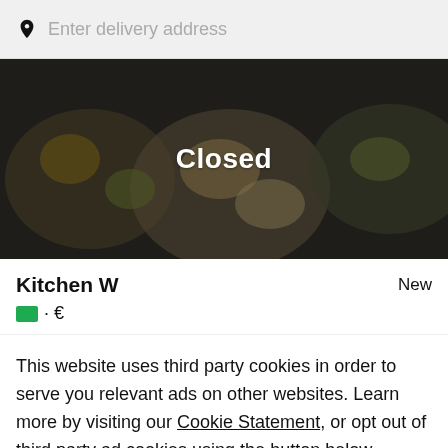Enter delivery address
[Figure (photo): Food dishes overhead shot with dark overlay and 'Closed' text overlay]
Kitchen W
New
🟩 · €
This website uses third party cookies in order to serve you relevant ads on other websites. Learn more by visiting our Cookie Statement, or opt out of third party ad cookies using the button below.
Opt out
Got it